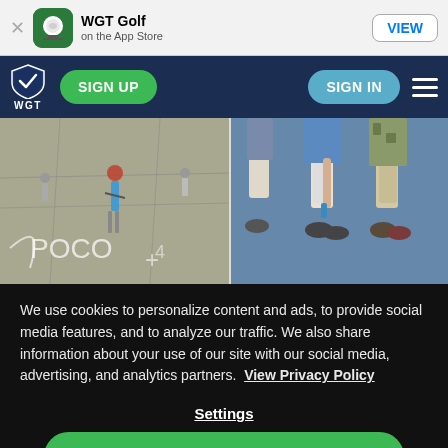[Figure (screenshot): App Store banner for WGT Golf with a golf ball icon, app name 'WGT Golf on the App Store', and a VIEW button]
[Figure (screenshot): WGT website navigation bar with WGT logo/shield, SIGN UP green button, SIGN IN blue button, and hamburger menu on dark navy background]
[Figure (photo): Two side-by-side photos: left shows a person in blue shirt on a court with chalk markings, right shows legs/feet of multiple people on a blue surface]
We use cookies to personalize content and ads, to provide social media features, and to analyze our traffic. We also share information about your use of our site with our social media, advertising, and analytics partners. View Privacy Policy
Settings
OK